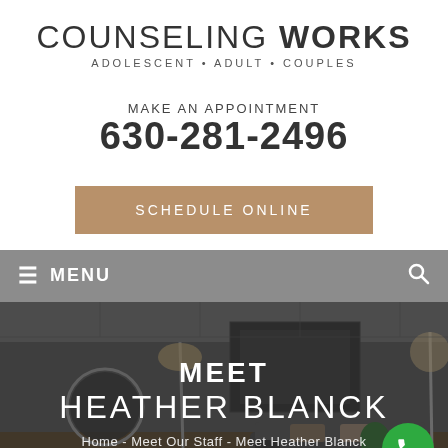COUNSELING WORKS — ADOLESCENT • ADULT • COUPLES
MAKE AN APPOINTMENT
630-281-2496
SCHEDULE ONLINE
≡ MENU
[Figure (photo): Hero image of a counseling office/living room interior with dim lighting, a round mirror, floor lamp, sofa, and artwork on the wall. Text overlay reads: MEET HEATHER BLANCK. Breadcrumb: Home - Meet Our Staff - Meet Heather Blanck. Green phone FAB button in bottom right.]